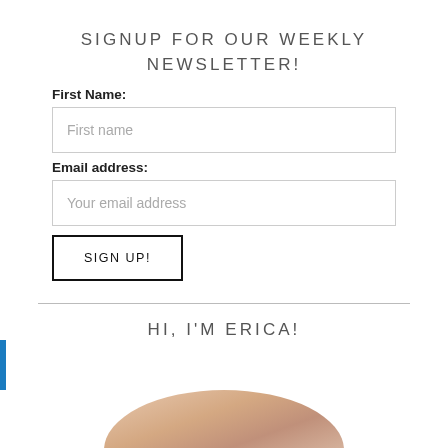SIGNUP FOR OUR WEEKLY NEWSLETTER!
First Name:
First name
Email address:
Your email address
SIGN UP!
HI, I'M ERICA!
[Figure (photo): Partial photo of a person (Erica) showing top of head with light hair, cropped at bottom of page]